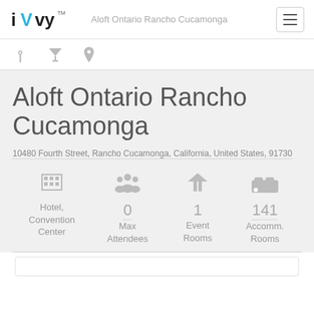iVvy — Aloft Ontario Rancho Cucamonga
Aloft Ontario Rancho Cucamonga
10480 Fourth Street, Rancho Cucamonga, California, United States, 91730
Hotel, Convention Center | 0 Max Attendees | 1 Event Rooms | 141 Accomm. Rooms